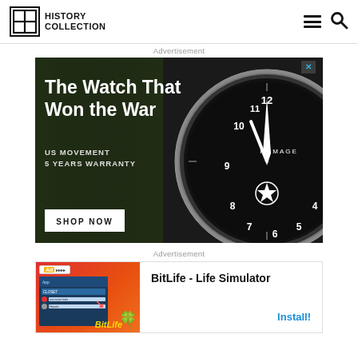History Collection
Advertisement
[Figure (photo): Advertisement banner for HOMAGE watch brand showing 'The Watch That Won the War' with military/soldier imagery and a large pilot watch face. Text includes 'US MOVEMENT', '5 YEARS WARRANTY', 'SHOP NOW', 'HOMAGE'.]
Advertisement
[Figure (screenshot): BitLife - Life Simulator app advertisement with red/orange background, app screenshot, BitLife logo, and Install button.]